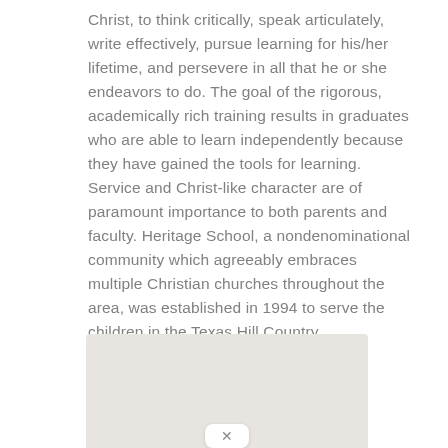Christ, to think critically, speak articulately, write effectively, pursue learning for his/her lifetime, and persevere in all that he or she endeavors to do. The goal of the rigorous, academically rich training results in graduates who are able to learn independently because they have gained the tools for learning. Service and Christ-like character are of paramount importance to both parents and faculty. Heritage School, a nondenominational community which agreeably embraces multiple Christian churches throughout the area, was established in 1994 to serve the children in the Texas Hill Country.
[Figure (map): A map image (partially visible) with a small white popup box containing an X close button at the bottom center.]